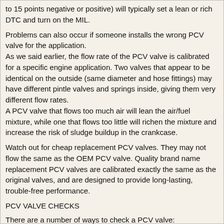to 15 points negative or positive) will typically set a lean or rich DTC and turn on the MIL.
Problems can also occur if someone installs the wrong PCV valve for the application.
As we said earlier, the flow rate of the PCV valve is calibrated for a specific engine application. Two valves that appear to be identical on the outside (same diameter and hose fittings) may have different pintle valves and springs inside, giving them very different flow rates.
A PCV valve that flows too much air will lean the air/fuel mixture, while one that flows too little will richen the mixture and increase the risk of sludge buildup in the crankcase.
Watch out for cheap replacement PCV valves. They may not flow the same as the OEM PCV valve. Quality brand name replacement PCV valves are calibrated exactly the same as the original valves, and are designed to provide long-lasting, trouble-free performance.
PCV VALVE CHECKS
There are a number of ways to check a PCV valve:
1. Remove the valve and shake it. If it rattles, it means the pintle inside is not stuck and the valve should flow air. But there's no way to know if the spring is weak or broken, or if a buildup of varnish and deposits inside the valve is restricting flow.